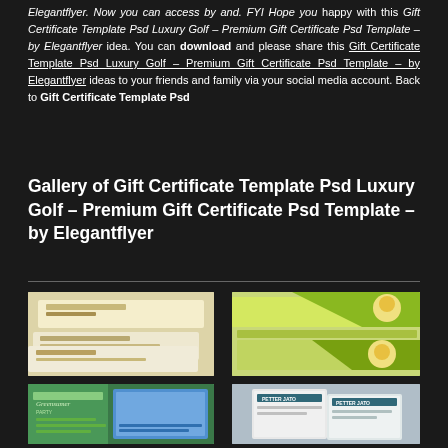Elegantflyer. Now you can access by and. FYI Hope you happy with this Gift Certificate Template Psd Luxury Golf – Premium Gift Certificate Psd Template – by Elegantflyer idea. You can download and please share this Gift Certificate Template Psd Luxury Golf – Premium Gift Certificate Psd Template – by Elegantflyer ideas to your friends and family via your social media account. Back to Gift Certificate Template Psd
Gallery of Gift Certificate Template Psd Luxury Golf – Premium Gift Certificate Psd Template – by Elegantflyer
[Figure (photo): Gift certificate template with yellow/cream fruit-themed design showing stacked cards]
[Figure (photo): Gift certificate template with green/yellow geometric design showing folded cards with child graphic]
[Figure (photo): Gift certificate template with blue and green design showing golf-themed certificate]
[Figure (photo): Gift certificate template with gray/teal design showing stacked cards]